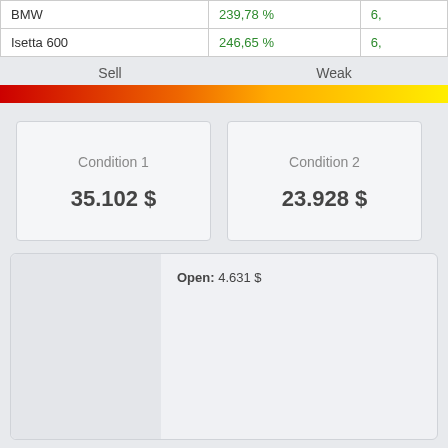|  |  |  |
| --- | --- | --- |
| BMW | 239,78 % | 6,... |
| Isetta 600 | 246,65 % | 6,... |
Sell    Weak
[Figure (infographic): Horizontal gradient bar from red (Sell) to yellow (Weak)]
Condition 1   35.102 $   Condition 2   23.928 $
Open: 4.631 $